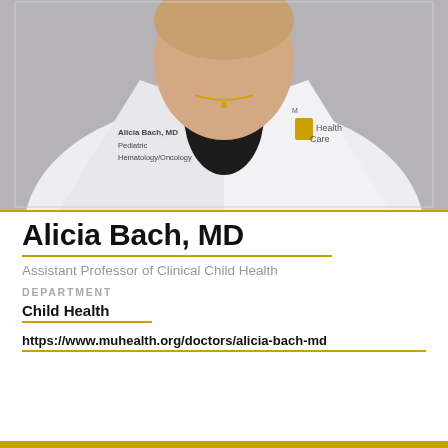[Figure (photo): Professional headshot of Dr. Alicia Bach, MD, wearing a white medical coat with 'Alicia Bach, MD, Pediatric Hematology/Oncology' embroidered on it and a MU HealthCare logo. Gray background.]
Alicia Bach, MD
Assistant Professor of Clinical Child Health
DEPARTMENT
Child Health
https://www.muhealth.org/doctors/alicia-bach-md